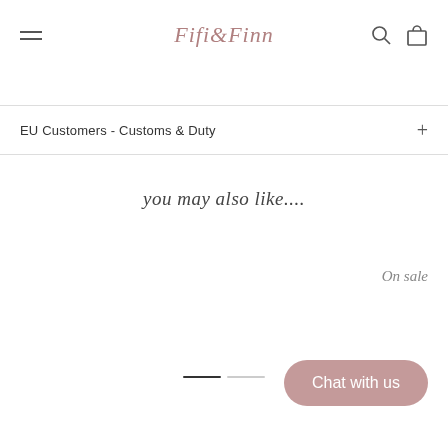Fifi & Finn
EU Customers - Customs & Duty
you may also like....
On sale
Chat with us